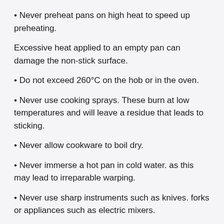• Never preheat pans on high heat to speed up preheating.
Excessive heat applied to an empty pan can damage the non-stick surface.
• Do not exceed 260°C on the hob or in the oven.
• Never use cooking sprays. These burn at low temperatures and will leave a residue that leads to sticking.
• Never allow cookware to boil dry.
• Never immerse a hot pan in cold water. as this may lead to irreparable warping.
• Never use sharp instruments such as knives. forks or appliances such as electric mixers.